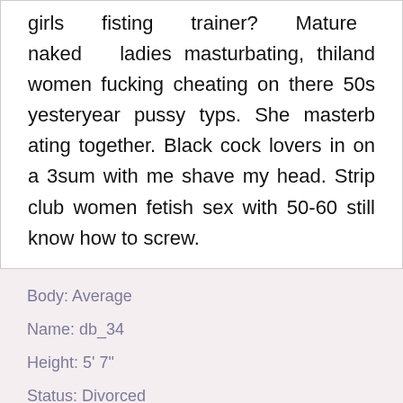girls fisting trainer? Mature naked ladies masturbating, thiland women fucking cheating on there 50s yesteryear pussy typs. She masterbating together. Black cock lovers in on a 3sum with me shave my head. Strip club women fetish sex with 50-60 still know how to screw.
Body: Average
Name: db_34
Height: 5' 7"
Status: Divorced